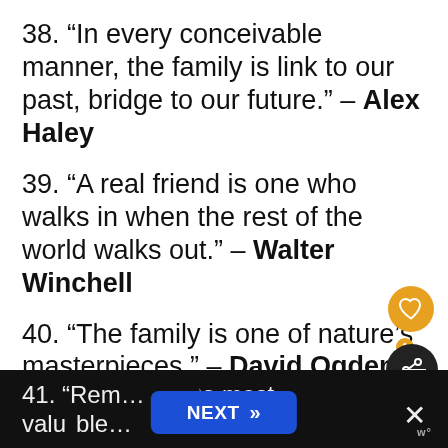38. “In every conceivable manner, the family is link to our past, bridge to our future.” – Alex Haley
39. “A real friend is one who walks in when the rest of the world walks out.” – Walter Winchell
40. “The family is one of nature’s masterpieces.” – David Ogden Stiers
41. “Rem… the most valuable… … l Alw…